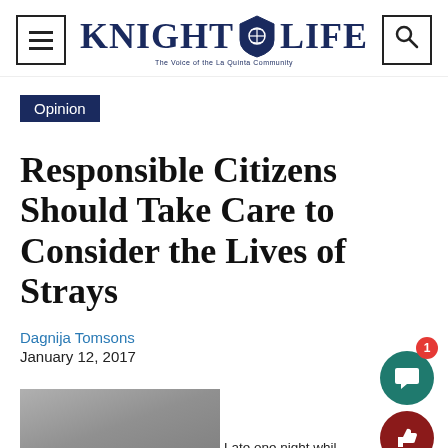KNIGHT LIFE — The Voice of the La Quinta Community
Opinion
Responsible Citizens Should Take Care to Consider the Lives of Strays
Dagnija Tomsons
January 12, 2017
[Figure (photo): Gray-toned photo at bottom left, partially visible]
Late one night whil